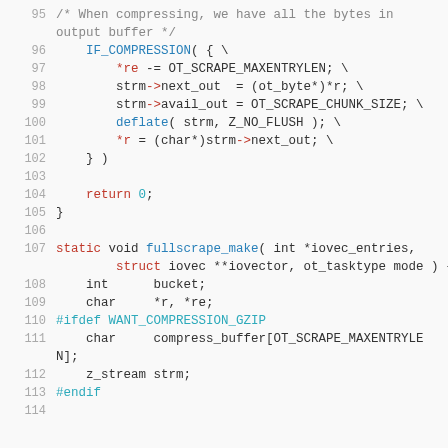Source code listing, lines 95–114, showing C code with compression logic and fullscrape_make function definition.